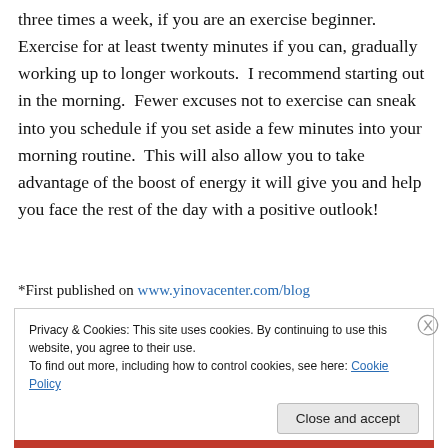three times a week, if you are an exercise beginner. Exercise for at least twenty minutes if you can, gradually working up to longer workouts.  I recommend starting out in the morning.  Fewer excuses not to exercise can sneak into you schedule if you set aside a few minutes into your morning routine.  This will also allow you to take advantage of the boost of energy it will give you and help you face the rest of the day with a positive outlook!
*First published on www.yinovacenter.com/blog
Privacy & Cookies: This site uses cookies. By continuing to use this website, you agree to their use.
To find out more, including how to control cookies, see here: Cookie Policy